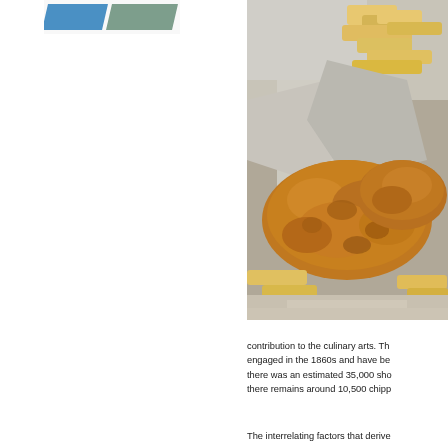[Figure (illustration): Partial view of book or card graphic with blue and gray/green angular shapes on white background, top-left area]
[Figure (photo): Close-up photograph of battered fish and chips (french fries) wrapped in paper/foil, showing golden-brown battered fish pieces and thick cut chips]
contribution to the culinary arts. Th... engaged in the 1860s and have be... there was an estimated 35,000 sho... there remains around 10,500 chipp...
The interrelating factors that derive...